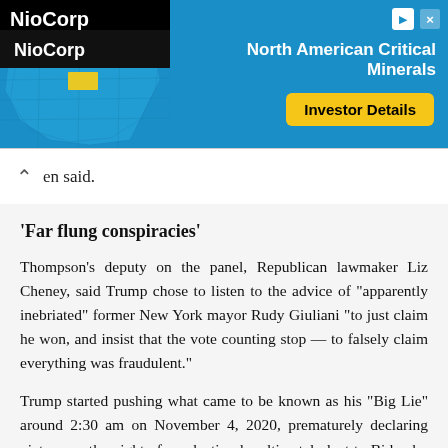[Figure (screenshot): Advertisement banner for NioCorp featuring a map of North America highlighted in blue with a yellow state marker, text 'North American Critical Minerals' and an 'Investor Details' button on yellow background]
en said.
'Far flung conspiracies'
Thompson's deputy on the panel, Republican lawmaker Liz Cheney, said Trump chose to listen to the advice of "apparently inebriated" former New York mayor Rudy Giuliani "to just claim he won, and insist that the vote counting stop — to falsely claim everything was fraudulent."
Trump started pushing what came to be known as his "Big Lie" around 2:30 am on November 4, 2020, prematurely declaring victory on the night of an election he ultimately lost to Biden by seven million